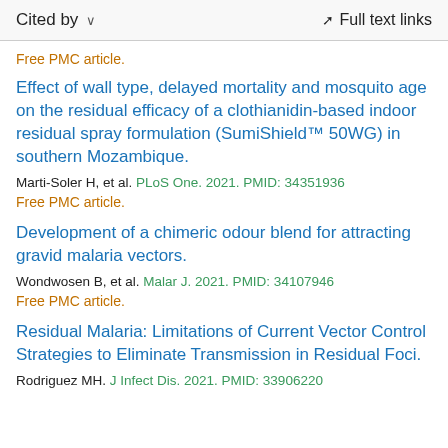Cited by   Full text links
Free PMC article.
Effect of wall type, delayed mortality and mosquito age on the residual efficacy of a clothianidin-based indoor residual spray formulation (SumiShield™ 50WG) in southern Mozambique.
Marti-Soler H, et al. PLoS One. 2021. PMID: 34351936
Free PMC article.
Development of a chimeric odour blend for attracting gravid malaria vectors.
Wondwosen B, et al. Malar J. 2021. PMID: 34107946
Free PMC article.
Residual Malaria: Limitations of Current Vector Control Strategies to Eliminate Transmission in Residual Foci.
Rodriguez MH. J Infect Dis. 2021. PMID: 33906220